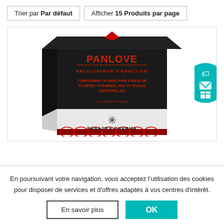Trier par Par défaut    Afficher 15 Produits par page
[Figure (photo): Product box for PANALOVE, a Facilitateur d'Erection supplement by Panacea Pharma, with black and red design, showing text: PANALOVE, FACILITATEUR D'ERECTION, COMPLÉMENT ALIMENTAIRE À BASE DE PLANTES, VITAMINES, ZINC ET HUILES ESSENTIELLES, Panacea Pharma logo]
En poursuivant votre navigation, vous acceptez l'utilisation des cookies pour disposer de services et d'offres adaptés à vos centres d'intérêt.
En savoir plus
OK